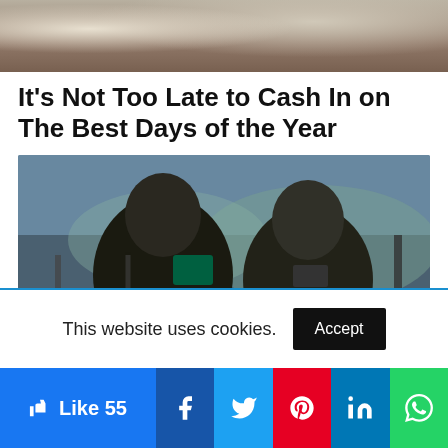[Figure (photo): Partial photo of people in white garments at top of page (cropped)]
It's Not Too Late to Cash In on The Best Days of the Year
[Figure (photo): Two women wearing niqab and face masks, sitting and using mobile phones/tablets, with a cityscape visible in the background]
This website uses cookies.
Accept
Like 55